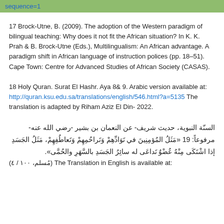sequence=1
17 Brock-Utne, B. (2009). The adoption of the Western paradigm of bilingual teaching: Why does it not fit the African situation? In K. K. Prah & B. Brock-Utne (Eds.), Multilingualism: An African advantage. A paradigm shift in African language of instruction polices (pp. 18–51). Cape Town: Centre for Advanced Studies of African Society (CASAS).
18 Holy Quran. Surat El Hashr. Aya 8& 9. Arabic version available at: http://quran.ksu.edu.sa/translations/english/546.html?a=5135 The translation is adapted by Riham Aziz El Din- 2022.
19 السنّة النبوية، حديث شريف- عن النعمان بن بشير -رضي الله عنه- مرفوعاً: «مَثَلُ المُؤمِنِينَ في تَوَادِّهِمْ وَتَراحُمِهِمْ وَتَعاطُفِهِمْ، مَثَلُ الجَسَدِ إذا اشْتَكَى مِنْهُ عُضْوٌ تَداعَى له سائِرُ الجَسَدِ بالسَّهَرِ والحُمَّى». The Translation in English is available at: